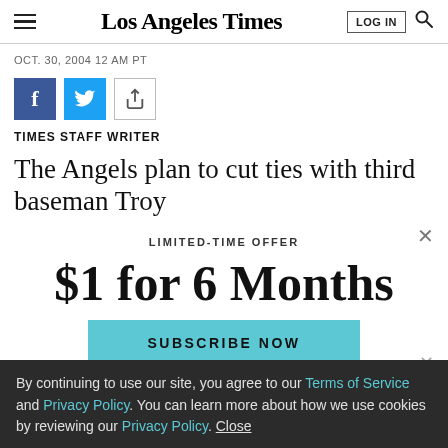Los Angeles Times
OCT. 30, 2004 12 AM PT
[Figure (infographic): Social share buttons: Facebook, Twitter, and share icon]
TIMES STAFF WRITER
The Angels plan to cut ties with third baseman Troy
LIMITED-TIME OFFER
$1 for 6 Months
SUBSCRIBE NOW
By continuing to use our site, you agree to our Terms of Service and Privacy Policy. You can learn more about how we use cookies by reviewing our Privacy Policy. Close